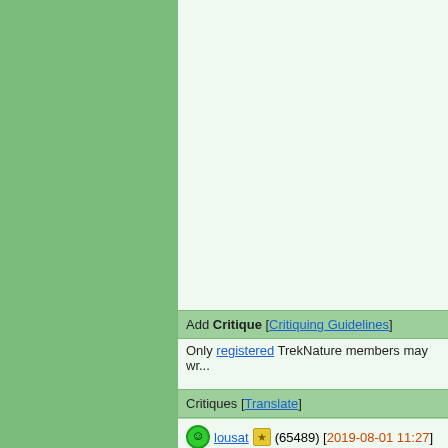Add Critique [Critiquing Guidelines]
Only registered TrekNature members may wr...
Critiques [Translate]
lousat (65489) [2019-08-01 11:27]
Ciao Silvio,altra bella specie che io non s... un bell'effetto 3D ,ottimi anche i dettagli.
mamcg (9843) [2019-08-01 19:51]
The double happiness, a flower next to th... Well exposed and composed TSF.